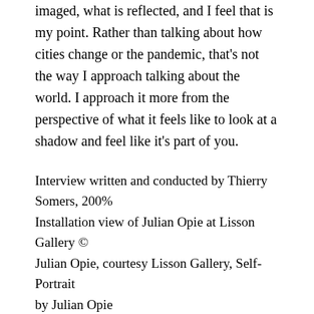imaged, what is reflected, and I feel that is my point. Rather than talking about how cities change or the pandemic, that’s not the way I approach talking about the world. I approach it more from the perspective of what it feels like to look at a shadow and feel like it’s part of you.
Interview written and conducted by Thierry Somers, 200%
Installation view of Julian Opie at Lisson Gallery © Julian Opie, courtesy Lisson Gallery, Self-Portrait by Julian Opie
Julian Opie, until 12 June, Lisson Gallery, 22 Cork Street London.